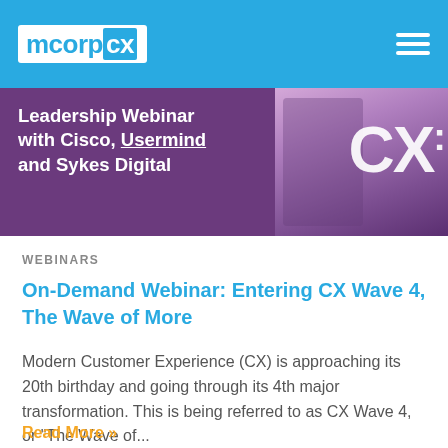mcorpcx
[Figure (screenshot): Banner image with purple background on left showing text 'Leadership Webinar with Cisco, Usermind and Sykes Digital' and on the right a person in a suit with large 'CX' text overlay]
WEBINARS
On-Demand Webinar: Entering CX Wave 4, The Wave of More
Modern Customer Experience (CX) is approaching its 20th birthday and going through its 4th major transformation. This is being referred to as CX Wave 4, or "The Wave of...
Read More »